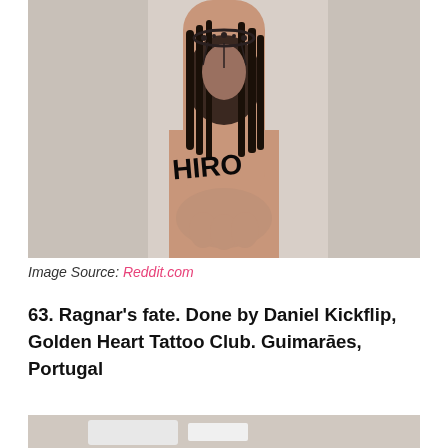[Figure (photo): A close-up photo of a hand/wrist with a detailed black and grey tattoo depicting a face with long dark hair and jewelry, with bold lettering below the face on the wrist area.]
Image Source: Reddit.com
63. Ragnar's fate. Done by Daniel Kickflip, Golden Heart Tattoo Club. Guimarāes, Portugal
[Figure (photo): Partial view of another tattoo photo, cropped at the bottom of the page.]